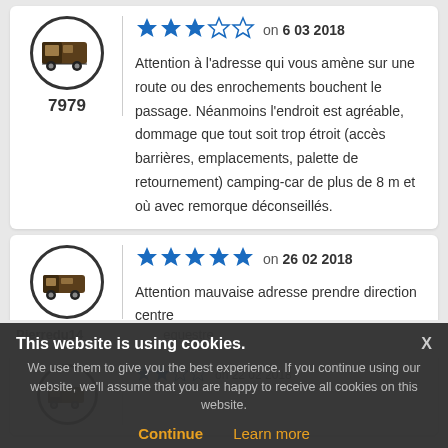[Figure (other): Review card 1: motorhome icon in circle, number 7979, 3-star rating on 6 03 2018, review text in French]
Attention à l'adresse qui vous amène sur une route ou des enrochements bouchent le passage. Néanmoins l'endroit est agréable, dommage que tout soit trop étroit (accès barrières, emplacements, palette de retournement) camping-car de plus de 8 m et où avec remorque déconseillés.
[Figure (other): Review card 2: camper van icon in circle, 5-star rating on 26 02 2018, partial review text]
Attention mauvaise adresse prendre direction centre
Pierredu14   equestre
This website is using cookies. We use them to give you the best experience. If you continue using our website, we'll assume that you are happy to receive all cookies on this website. Continue  Learn more